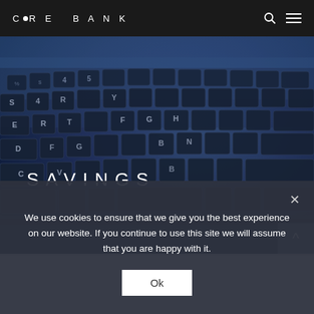CORE BANK
[Figure (photo): Close-up photo of a laptop keyboard with blue-tinted lighting, dark keys visible. The word SAVINGS is overlaid in white uppercase letters with wide letter-spacing.]
SAVINGS
We use cookies to ensure that we give you the best experience on our website. If you continue to use this site we will assume that you are happy with it.